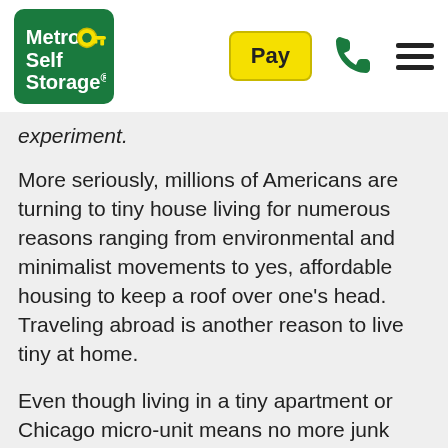[Figure (logo): Metro Self Storage logo — green rounded rectangle with white bold text 'Metro Self Storage' and yellow key icon]
[Figure (other): Yellow 'Pay' button]
[Figure (other): Green phone icon]
[Figure (other): Hamburger menu icon (three horizontal lines)]
experiment.
More seriously, millions of Americans are turning to tiny house living for numerous reasons ranging from environmental and minimalist movements to yes, affordable housing to keep a roof over one’s head. Traveling abroad is another reason to live tiny at home.
Even though living in a tiny apartment or Chicago micro-unit means no more junk drawer and won’t be able to hoard toilet paper, you can focus on the lifestyle living in this big, beautiful city has to offer.